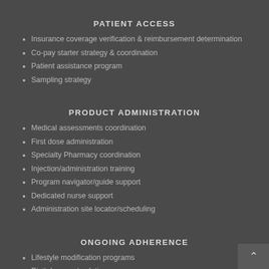PATIENT ACCESS
Insurance coverage verification & reimbursement determination
Co-pay starter strategy & coordination
Patient assistance program
Sampling strategy
PRODUCT ADMINISTRATION
Medical assessments coordination
First dose administration
Specialty Pharmacy coordination
Injection/administration training
Program navigator/guide support
Dedicated nurse support
Administration site locator/scheduling
ONGOING ADHERENCE
Lifestyle modification programs
Digital support solutions